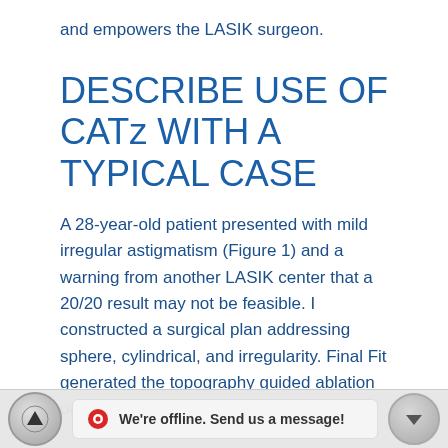and empowers the LASIK surgeon.
DESCRIBE USE OF CATz WITH A TYPICAL CASE
A 28-year-old patient presented with mild irregular astigmatism (Figure 1) and a warning from another LASIK center that a 20/20 result may not be feasible. I constructed a surgical plan addressing sphere, cylindrical, and irregularity. Final Fit generated the topography guided ablation pattern of BSCV